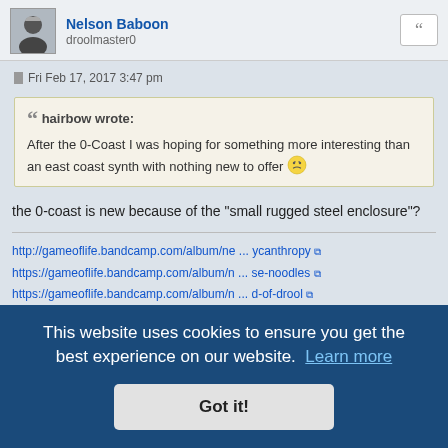Nelson Baboon | droolmaster0
Fri Feb 17, 2017 3:47 pm
hairbow wrote: After the 0-Coast I was hoping for something more interesting than an east coast synth with nothing new to offer
the 0-coast is new because of the "small rugged steel enclosure"?
http://gameoflife.bandcamp.com/album/ne ... ycanthropy
https://gameoflife.bandcamp.com/album/n ... se-noodles
https://gameoflife.bandcamp.com/album/n ... d-of-drool
This website uses cookies to ensure you get the best experience on our website. Learn more | Got it!